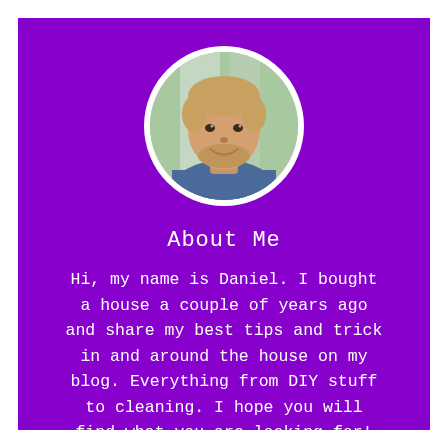[Figure (photo): Circular profile photo of a smiling young man with light brown hair and beard, wearing a blue shirt, with a blurred outdoor background. Photo is framed in a white circular border.]
About Me
Hi, my name is Daniel. I bought a house a couple of years ago and share my best tips and trick in and around the house on my blog. Everything from DIY stuff to cleaning. I hope you will find what you are looking for!